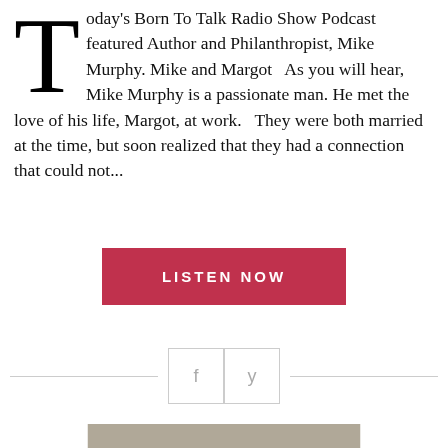Today's Born To Talk Radio Show Podcast featured Author and Philanthropist, Mike Murphy. Mike and Margot  As you will hear, Mike Murphy is a passionate man. He met the love of his life, Margot, at work.  They were both married at the time, but soon realized that they had a connection that could not...
LISTEN NOW
[Figure (other): Social sharing icons: Facebook (f) and Twitter (y) buttons with horizontal dividing lines]
[Figure (photo): Portrait photo of a middle-aged man with gray hair wearing a dark suit, professional headshot]